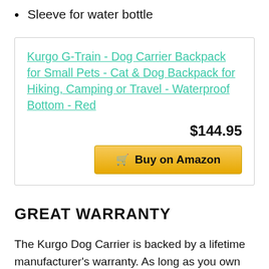Sleeve for water bottle
Kurgo G-Train - Dog Carrier Backpack for Small Pets - Cat & Dog Backpack for Hiking, Camping or Travel - Waterproof Bottom - Red
$144.95
Buy on Amazon
GREAT WARRANTY
The Kurgo Dog Carrier is backed by a lifetime manufacturer's warranty. As long as you own the